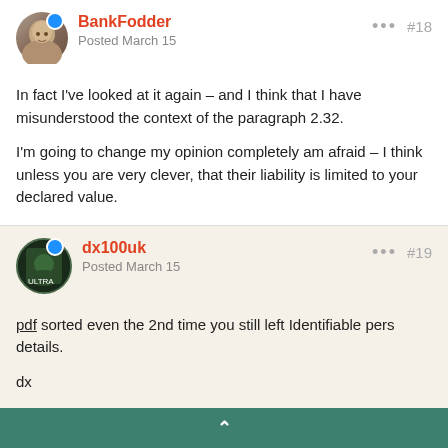BankFodder — Posted March 15 — #18
In fact I've looked at it again – and I think that I have misunderstood the context of the paragraph 2.32.
I'm going to change my opinion completely am afraid – I think unless you are very clever, that their liability is limited to your declared value.
dx100uk — Posted March 15 — #19
pdf sorted even the 2nd time you still left Identifiable pers details.
dx